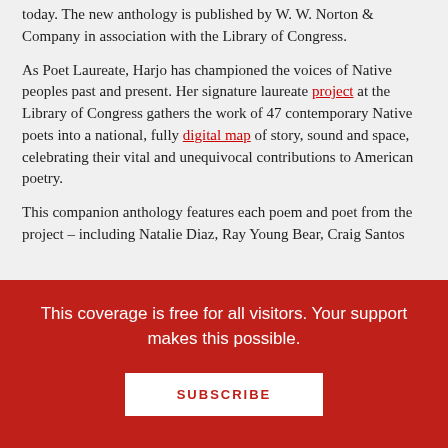today. The new anthology is published by W. W. Norton & Company in association with the Library of Congress.
As Poet Laureate, Harjo has championed the voices of Native peoples past and present. Her signature laureate project at the Library of Congress gathers the work of 47 contemporary Native poets into a national, fully digital map of story, sound and space, celebrating their vital and unequivocal contributions to American poetry.
This companion anthology features each poem and poet from the project – including Natalie Diaz, Ray Young Bear, Craig Santos
This coverage is free for all visitors. Your support makes this possible.
SUBSCRIBE